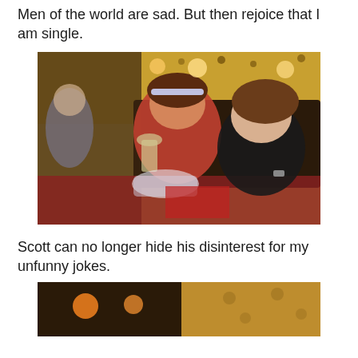Men of the world are sad. But then rejoice that I am single.
[Figure (photo): Two women sitting at a restaurant table smiling at the camera. The woman on the left holds a wine glass and wears a red patterned top with a headband. The woman on the right wears a black top. The background shows decorative wallpaper with sunflower-like patterns and warm lighting.]
Scott can no longer hide his disinterest for my unfunny jokes.
[Figure (photo): Partial view of a similar restaurant setting with warm amber lighting and the same sunflower-patterned wallpaper in the background.]